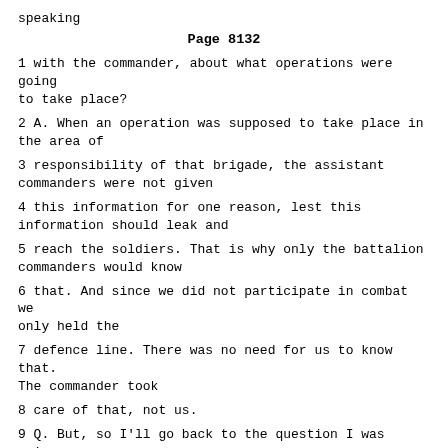speaking
Page 8132
1 with the commander, about what operations were going to take place?
2 A. When an operation was supposed to take place in the area of
3 responsibility of that brigade, the assistant commanders were not given
4 this information for one reason, lest this information should leak and
5 reach the soldiers. That is why only the battalion commanders would know
6 that. And since we did not participate in combat we only held the
7 defence line. There was no need for us to know that. The commander took
8 care of that, not us.
9 Q. But, so I'll go back to the question I was going to ask. How
10 were you able to maintain security on the front line if you don't know